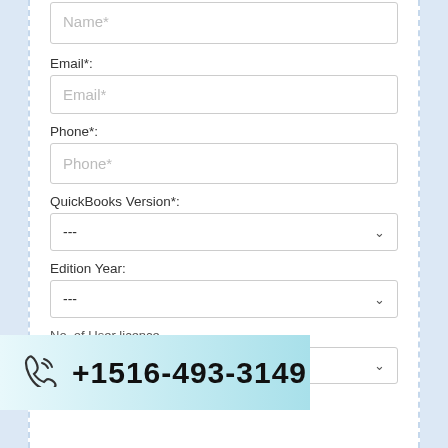Name*
Email*:
Phone*:
QuickBooks Version*:
Edition Year:
HELP Needed:
[Figure (screenshot): Phone call bar showing +1516-493-3149 with a phone icon on a teal gradient background]